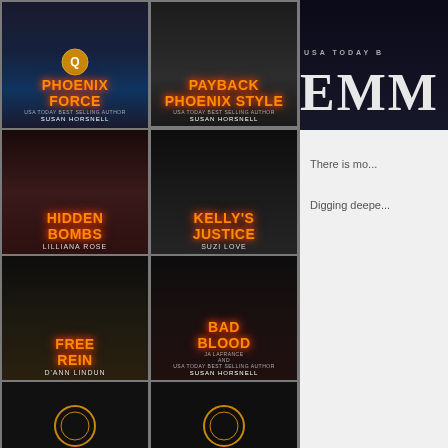[Figure (illustration): Grid of book covers showing: Phoenix Force by Susan Horsnell, Payback Phoenix Style by Susan Horsnell, Hidden Bombs by Lilliana Rose, Kelly's Justice by Suzi Love, Free Rein by D'Ann Lingun, Bad Blood by JA Lafrance and Susan Horsnell, and two partial covers at the bottom.]
[Figure (photo): Partial book cover showing 'USA TODAY B...' and large letters 'EMM...']
There is mo... Digging deepe...